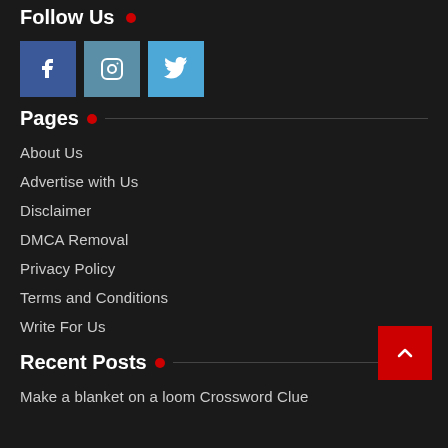Follow Us
[Figure (other): Social media icons: Facebook, Instagram, Twitter]
Pages
About Us
Advertise with Us
Disclaimer
DMCA Removal
Privacy Policy
Terms and Conditions
Write For Us
Recent Posts
Make a blanket on a loom Crossword Clue